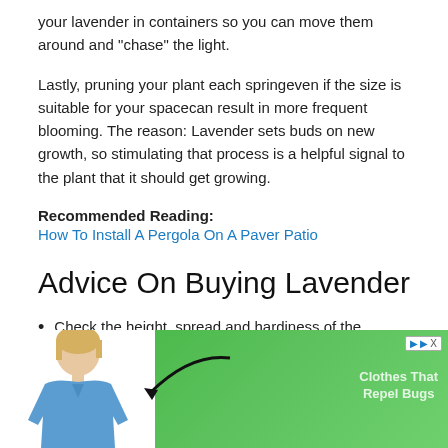your lavender in containers so you can move them around and “chase” the light.
Lastly, pruning your plant each springeven if the size is suitable for your spacecan result in more frequent blooming. The reason: Lavender sets buds on new growth, so stimulating that process is a helpful signal to the plant that it should get growing.
Recommended Reading:
How To Install A Pergola On A Paver Patio
Advice On Buying Lavender
Check the height, spread and hardiness of the lavender
[Figure (photo): Advertisement banner showing a woman in blue top with a green background and text 'Clothes That Repel Bugs']